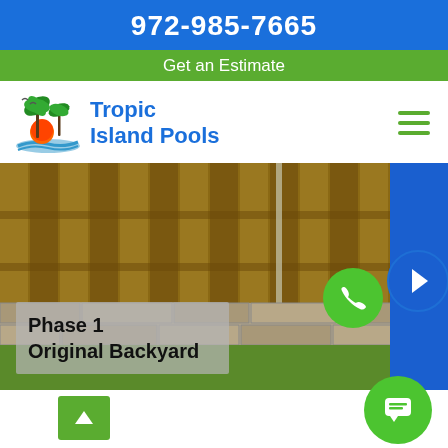972-985-7665
Get an Estimate
[Figure (logo): Tropic Island Pools logo with palm trees and sunset icon]
Tropic Island Pools
[Figure (photo): Backyard photo showing wooden fence and stone retaining wall, pre-pool installation]
Phase 1 Original Backyard